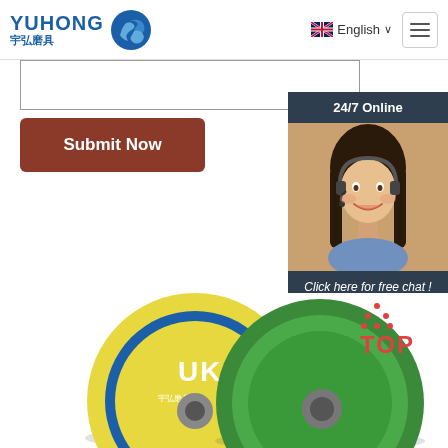[Figure (logo): Yuhong 宇弘磨具 logo with blue wave circular icon and blue text]
English ∨
[Figure (other): Hamburger menu icon (three horizontal lines) in a bordered box]
[Figure (other): Text input field (empty)]
Submit Now
[Figure (photo): 24/7 Online chat widget showing a smiling woman with headset, dark background, with 'Click here for free chat!' text and orange QUOTATION button]
[Figure (photo): Two abrasive grinding discs: one yellow/blue labeled UK, one green, with TOP navigation button in red on the right]